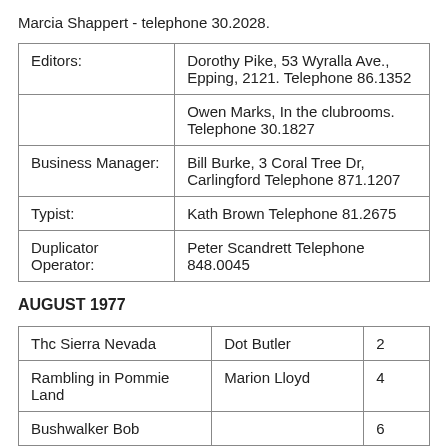Marcia Shappert - telephone 30.2028.
| Editors: | Dorothy Pike, 53 Wyralla Ave., Epping, 2121. Telephone 86.1352 |
|  | Owen Marks, In the clubrooms. Telephone 30.1827 |
| Business Manager: | Bill Burke, 3 Coral Tree Dr, Carlingford Telephone 871.1207 |
| Typist: | Kath Brown Telephone 81.2675 |
| Duplicator Operator: | Peter Scandrett Telephone 848.0045 |
AUGUST 1977
| Thc Sierra Nevada | Dot Butler | 2 |
| Rambling in Pommie Land | Marion Lloyd | 4 |
| Bushwalker Bob |  | 6 |